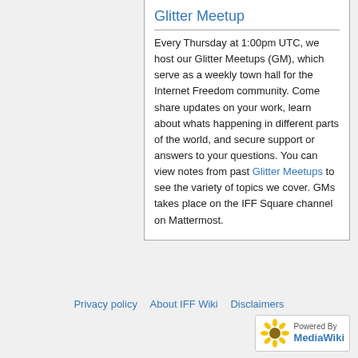Glitter Meetup
Every Thursday at 1:00pm UTC, we host our Glitter Meetups (GM), which serve as a weekly town hall for the Internet Freedom community. Come share updates on your work, learn about whats happening in different parts of the world, and secure support or answers to your questions. You can view notes from past Glitter Meetups to see the variety of topics we cover. GMs takes place on the IFF Square channel on Mattermost.
Privacy policy · About IFF Wiki · Disclaimers
[Figure (logo): Powered by MediaWiki badge with sunflower logo]